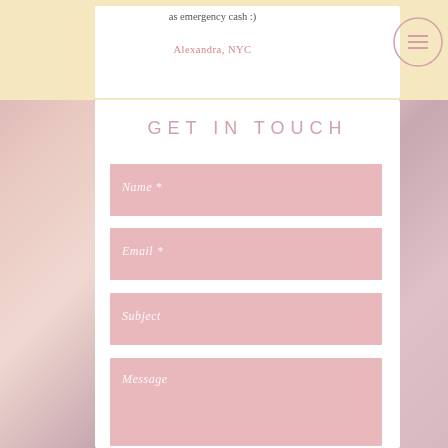as emergency cash :)
Alexandra, NYC
GET IN TOUCH
Name *
Email *
Subject
Message